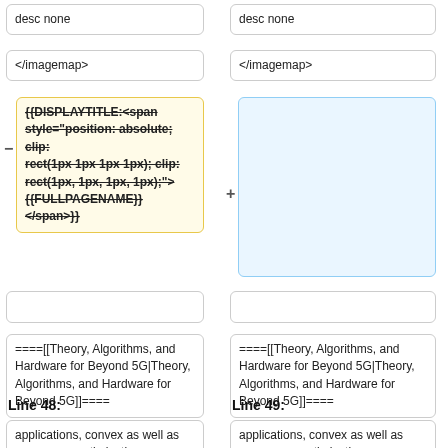desc none
desc none
</imagemap>
</imagemap>
{{DISPLAYTITLE:<span style="position: absolute; clip: rect(1px 1px 1px 1px); clip: rect(1px, 1px, 1px, 1px);">{{FULLPAGENAME}}</span>}}
====[[Theory, Algorithms, and Hardware for Beyond 5G|Theory, Algorithms, and Hardware for Beyond 5G]]====
====[[Theory, Algorithms, and Hardware for Beyond 5G|Theory, Algorithms, and Hardware for Beyond 5G]]====
Line 48:
Line 49:
applications, convex as well as nonconvex optimization
applications, convex as well as nonconvex optimization